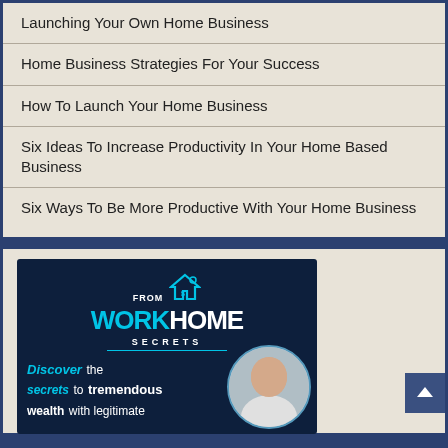Launching Your Own Home Business
Home Business Strategies For Your Success
How To Launch Your Home Business
Six Ideas To Increase Productivity In Your Home Based Business
Six Ways To Be More Productive With Your Home Business
[Figure (illustration): Work From Home Secrets advertisement banner with logo, house icon, and woman with headset. Text reads: Discover the secrets to tremendous wealth with legitimate]